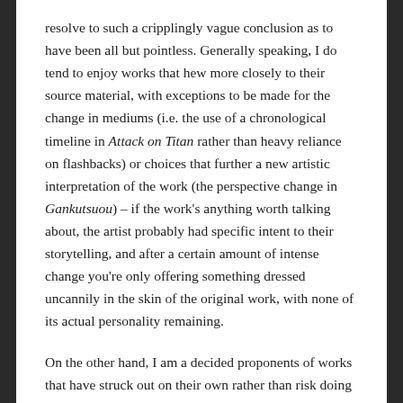resolve to such a cripplingly vague conclusion as to have been all but pointless. Generally speaking, I do tend to enjoy works that hew more closely to their source material, with exceptions to be made for the change in mediums (i.e. the use of a chronological timeline in Attack on Titan rather than heavy reliance on flashbacks) or choices that further a new artistic interpretation of the work (the perspective change in Gankutsuou) – if the work's anything worth talking about, the artist probably had specific intent to their storytelling, and after a certain amount of intense change you're only offering something dressed uncannily in the skin of the original work, with none of its actual personality remaining.
On the other hand, I am a decided proponents of works that have struck out on their own rather than risk doing irreparable damage to the plotting and urgency by waiting around with filler, a concept that by its very nature cannot change or progress the characters and world in any meaningful way, lest it